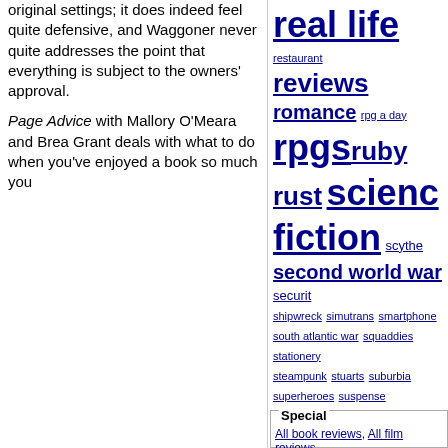original settings; it does indeed feel quite defensive, and Waggoner never quite addresses the point that everything is subject to the owners' approval.
Page Advice with Mallory O'Meara and Brea Grant deals with what to do when you've enjoyed a book so much you
[Figure (other): Tag cloud with links of various sizes in dark blue/navy, including: real life, restaurant, reviews, romance, rpg a day, rpgs, ruby, rust, science fiction, scythe, second world war, security, shipwreck, simutrans, smartphone, south atlantic war, squaddies, stationery, steampunk, stuarts, suburbia, superheroes, suspense, television, the resistance, the weekly challenge, thirsty meeples, thriller, tin soldier, torg, toys, trailers, travel, type 2, 31, type 45, vietnam war, war, wargaming, weather, wives sweethearts, writing about writing, x-wing, young adult]
Special
All book reviews, All film reviews